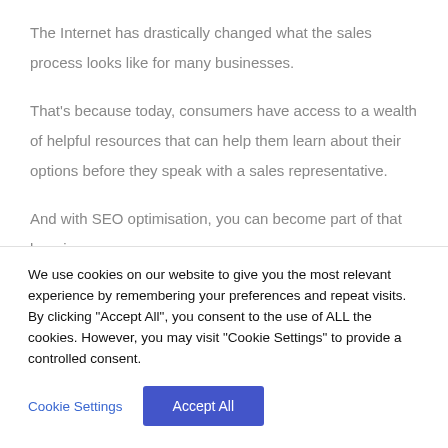The Internet has drastically changed what the sales process looks like for many businesses.
That's because today, consumers have access to a wealth of helpful resources that can help them learn about their options before they speak with a sales representative.
And with SEO optimisation, you can become part of that learning process.
We use cookies on our website to give you the most relevant experience by remembering your preferences and repeat visits. By clicking "Accept All", you consent to the use of ALL the cookies. However, you may visit "Cookie Settings" to provide a controlled consent.